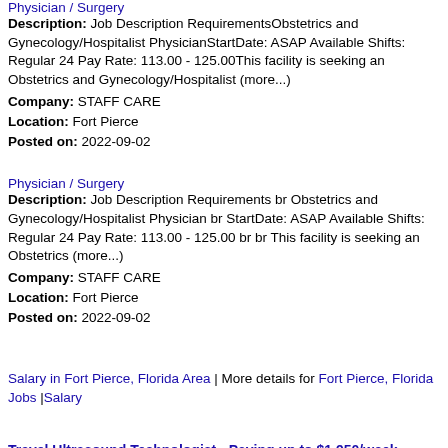Physician / Surgery
Description: Job Description RequirementsObstetrics and Gynecology/Hospitalist PhysicianStartDate: ASAP Available Shifts: Regular 24 Pay Rate: 113.00 - 125.00This facility is seeking an Obstetrics and Gynecology/Hospitalist (more...)
Company: STAFF CARE
Location: Fort Pierce
Posted on: 2022-09-02
Physician / Surgery
Description: Job Description Requirements br Obstetrics and Gynecology/Hospitalist Physician br StartDate: ASAP Available Shifts: Regular 24 Pay Rate: 113.00 - 125.00 br br This facility is seeking an Obstetrics (more...)
Company: STAFF CARE
Location: Fort Pierce
Posted on: 2022-09-02
Salary in Fort Pierce, Florida Area | More details for Fort Pierce, Florida Jobs |Salary
Travel Ultrasound Technologist - Paying up to $1,950/week
Description: Vivian is looking for Travel Ultrasound Technologist Allied Health Professionals in Fort Pierce, Florida paying up to 1,950/week br br br At Vivian, we ensure